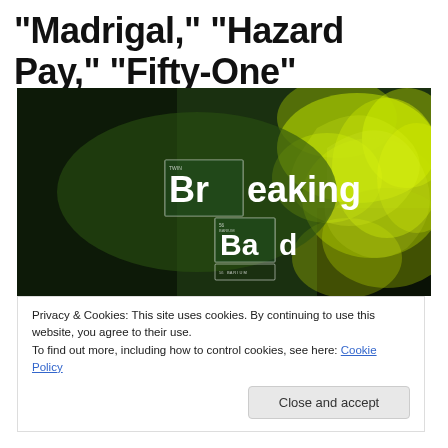"Madrigal," "Hazard Pay," "Fifty-One"
[Figure (photo): Breaking Bad TV show promotional image with green/yellow smoke and the Breaking Bad logo styled like periodic table elements]
Privacy & Cookies: This site uses cookies. By continuing to use this website, you agree to their use.
To find out more, including how to control cookies, see here: Cookie Policy
Close and accept